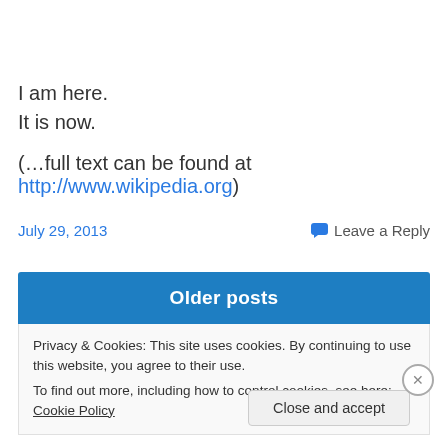I am here.
It is now.

(…full text can be found at http://www.wikipedia.org)
July 29, 2013    Leave a Reply
Older posts
Privacy & Cookies: This site uses cookies. By continuing to use this website, you agree to their use.
To find out more, including how to control cookies, see here: Cookie Policy
Close and accept